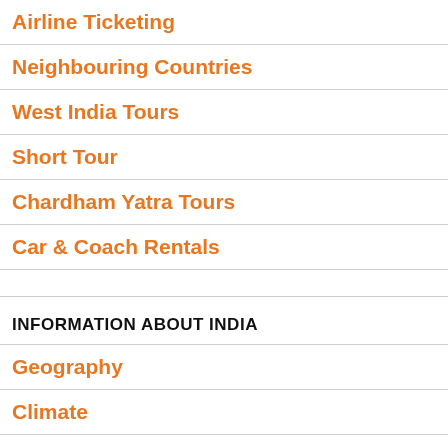Airline Ticketing
Neighbouring Countries
West India Tours
Short Tour
Chardham Yatra Tours
Car & Coach Rentals
INFORMATION ABOUT INDIA
Geography
Climate
Map
Travel Tips
Guide Service